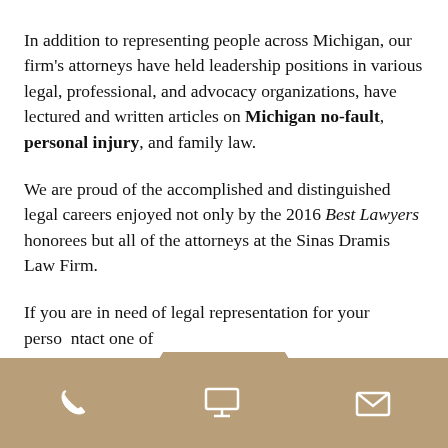In addition to representing people across Michigan, our firm's attorneys have held leadership positions in various legal, professional, and advocacy organizations, have lectured and written articles on Michigan no-fault, personal injury, and family law.
We are proud of the accomplished and distinguished legal careers enjoyed not only by the 2016 Best Lawyers honorees but all of the attorneys at the Sinas Dramis Law Firm.
If you are in need of legal representation for your personal injury, contact one of our...